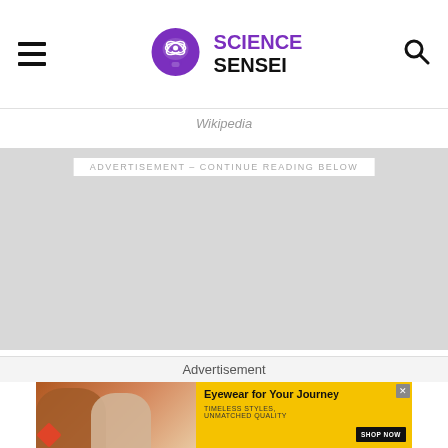Science Sensei
Wikipedia
[Figure (other): Advertisement placeholder grey block with text: ADVERTISEMENT - CONTINUE READING BELOW]
Advertisement
[Figure (other): Banner advertisement: Eyewear for Your Journey - Timeless Styles, Unmatched Quality - Shop Now button, with photo of two women wearing sunglasses]